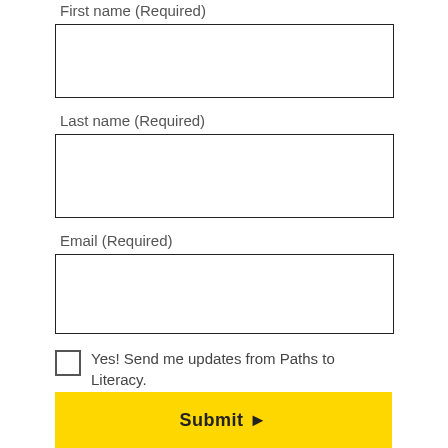First name (Required)
Last name (Required)
Email (Required)
Yes! Send me updates from Paths to Literacy.
By submitting this form, you agree to our Terms & Conditions and Privacy Policy.
Submit ▶